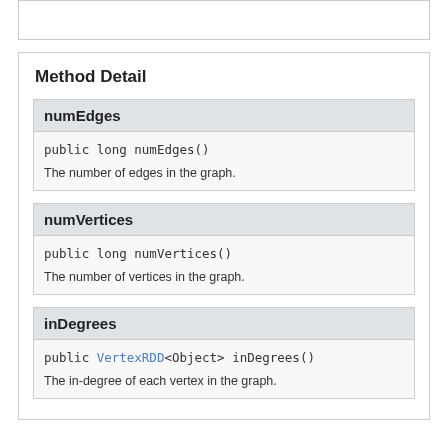Method Detail
public long numEdges()
The number of edges in the graph.
public long numVertices()
The number of vertices in the graph.
public VertexRDD<Object> inDegrees()
The in-degree of each vertex in the graph.